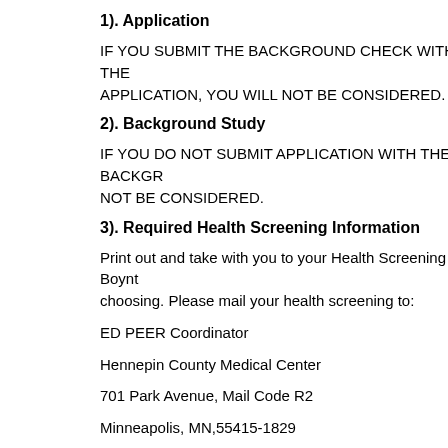1). Application
IF YOU SUBMIT THE BACKGROUND CHECK WITHOUT THE APPLICATION, YOU WILL NOT BE CONSIDERED.
2). Background Study
IF YOU DO NOT SUBMIT APPLICATION WITH THE BACKGROUND STUDY, YOU WILL NOT BE CONSIDERED.
3). Required Health Screening Information
Print out and take with you to your Health Screening at Boynton or a clinic of your choosing. Please mail your health screening to:
ED PEER Coordinator
Hennepin County Medical Center
701 Park Avenue, Mail Code R2
Minneapolis, MN,55415-1829
4). Two references (form found on the ED P.E.E.R webpage)
references to two recommenders and have them email the form